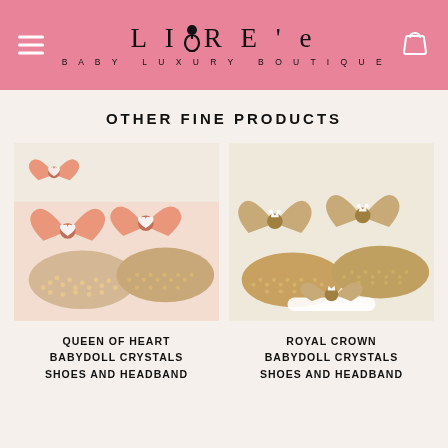LIORE'e BABY LUXURY BOUTIQUE
OTHER FINE PRODUCTS
[Figure (photo): Baby shoes with salmon/peach satin bows decorated with crystal hearts, crystal-encrusted soles, with matching headband]
QUEEN OF HEART BABYDOLL CRYSTALS SHOES AND HEADBAND
[Figure (photo): Baby shoes with champagne/gold satin bows decorated with crystal crowns, crystal-encrusted soles, with matching headband]
ROYAL CROWN BABYDOLL CRYSTALS SHOES AND HEADBAND